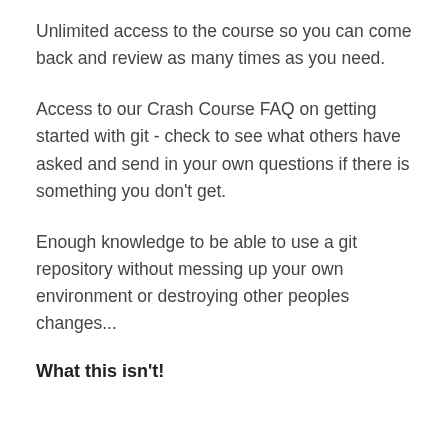Unlimited access to the course so you can come back and review as many times as you need.
Access to our Crash Course FAQ on getting started with git - check to see what others have asked and send in your own questions if there is something you don't get.
Enough knowledge to be able to use a git repository without messing up your own environment or destroying other peoples changes...
What this isn't!